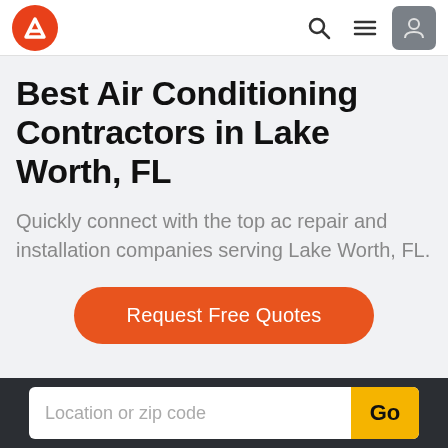Navigation bar with logo, search icon, menu icon, and user icon
Best Air Conditioning Contractors in Lake Worth, FL
Quickly connect with the top ac repair and installation companies serving Lake Worth, FL.
Request Free Quotes
Location or zip code  Go